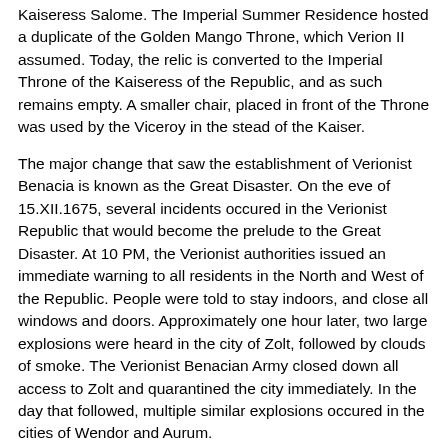Kaiseress Salome. The Imperial Summer Residence hosted a duplicate of the Golden Mango Throne, which Verion II assumed. Today, the relic is converted to the Imperial Throne of the Kaiseress of the Republic, and as such remains empty. A smaller chair, placed in front of the Throne was used by the Viceroy in the stead of the Kaiser.
The major change that saw the establishment of Verionist Benacia is known as the Great Disaster. On the eve of 15.XII.1675, several incidents occured in the Verionist Republic that would become the prelude to the Great Disaster. At 10 PM, the Verionist authorities issued an immediate warning to all residents in the North and West of the Republic. People were told to stay indoors, and close all windows and doors. Approximately one hour later, two large explosions were heard in the city of Zolt, followed by clouds of smoke. The Verionist Benacian Army closed down all access to Zolt and quarantined the city immediately. In the day that followed, multiple similar explosions occured in the cities of Wendor and Aurum.
As it turned out, the explosions were linked to a secret government programme known as "Sword of Revenge", which was the Verionist Republican implementation of the similarly named Kasterburger research programme. "Sword of Revenge" did not only include the development of nuclear weapons, building on the previous Shirerithian arsenal in Wendor, but also several types of biological weapons. After the first explosion in Zolt, which was caused by a malfunction in the cooling system of Reactor IV, the Titus Morvayne Research Centre was largely destroyed. This